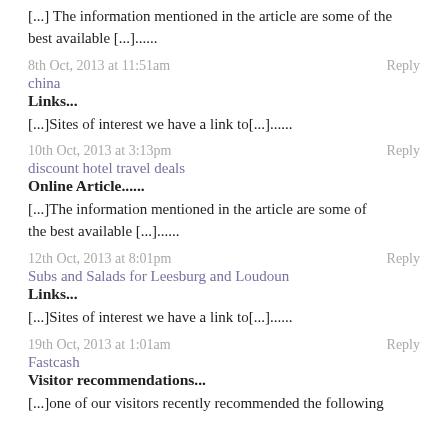[...] The information mentioned in the article are some of the best available [...]......
8th Oct, 2013 at 11:51am    Reply
china
Links...
[...]Sites of interest we have a link to[...]......
10th Oct, 2013 at 3:13pm    Reply
discount hotel travel deals
Online Article......
[...]The information mentioned in the article are some of the best available [...]......
12th Oct, 2013 at 8:01pm    Reply
Subs and Salads for Leesburg and Loudoun
Links...
[...]Sites of interest we have a link to[...]......
19th Oct, 2013 at 1:01am    Reply
Fastcash
Visitor recommendations...
[...]one of our visitors recently recommended the following